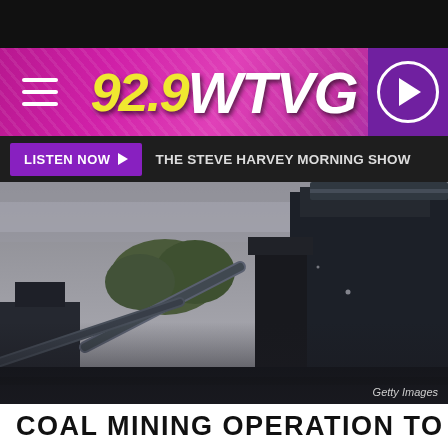92.9 WTVG
LISTEN NOW ▶  THE STEVE HARVEY MORNING SHOW
[Figure (photo): Coal mining operation facility with large industrial structures, conveyor belts, and dark metal buildings against an overcast sky with trees in the background. Getty Images watermark.]
COAL MINING OPERATION TO